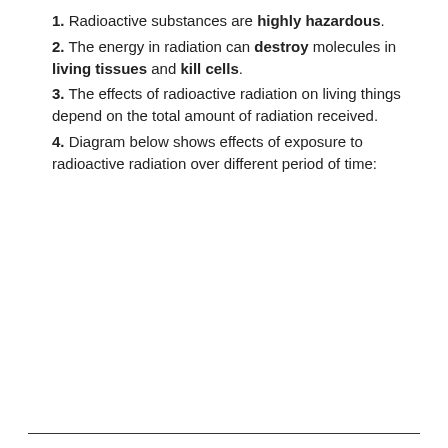1. Radioactive substances are highly hazardous.
2. The energy in radiation can destroy molecules in living tissues and kill cells.
3. The effects of radioactive radiation on living things depend on the total amount of radiation received.
4. Diagram below shows effects of exposure to radioactive radiation over different period of time: